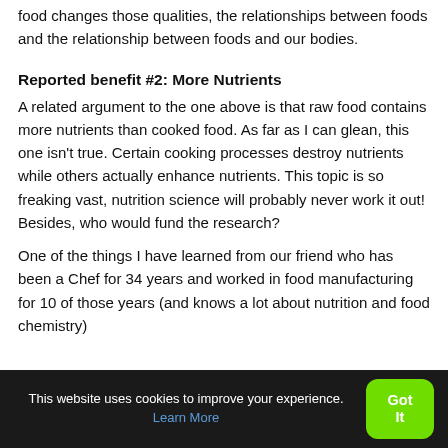food changes those qualities, the relationships between foods and the relationship between foods and our bodies.
Reported benefit #2: More Nutrients
A related argument to the one above is that raw food contains more nutrients than cooked food. As far as I can glean, this one isn't true. Certain cooking processes destroy nutrients while others actually enhance nutrients. This topic is so freaking vast, nutrition science will probably never work it out! Besides, who would fund the research?
One of the things I have learned from our friend who has been a Chef for 34 years and worked in food manufacturing for 10 of those years (and knows a lot about nutrition and food chemistry)
This website uses cookies to improve your experience. Learn More
Got It